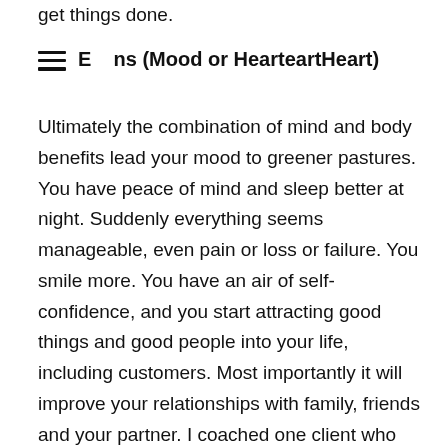get things done.
E  ns (Mood or HearteartHeart)
Ultimately the combination of mind and body benefits lead your mood to greener pastures. You have peace of mind and sleep better at night. Suddenly everything seems manageable, even pain or loss or failure. You smile more. You have an air of self-confidence, and you start attracting good things and good people into your life, including customers. Most importantly it will improve your relationships with family, friends and your partner. I coached one client who said that until he learned how to laugh, his kids found him too serious and scary. When he learned to let go and laugh more he was getting more hugs at home. In fact, research shows that people who are fun, witty and smile often are voted as more attractive